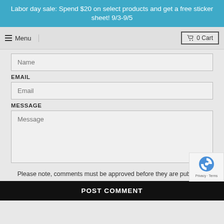Labor day sale: Spend $20 on select products and get a free sticker sheet! 9/3-9/5
≡ Menu   🛒 0 Cart
Name
EMAIL
Email
MESSAGE
Message
Please note, comments must be approved before they are published
POST COMMENT